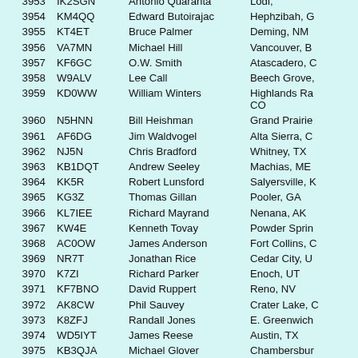| # | Call | Name | Location |
| --- | --- | --- | --- |
| 3953 | IK2SGN | Antonio Quaranta | Lodi, |
| 3954 | KM4QQ | Edward Butoirajac | Hephzibah, G |
| 3955 | KT4ET | Bruce Palmer | Deming, NM |
| 3956 | VA7MN | Michael Hill | Vancouver, B |
| 3957 | KF6GC | O.W. Smith | Atascadero, C |
| 3958 | W9ALV | Lee Call | Beech Grove, |
| 3959 | KD0WW | William Winters | Highlands Ra CO |
| 3960 | N5HNN | Bill Heishman | Grand Prairie |
| 3961 | AF6DG | Jim Waldvogel | Alta Sierra, C |
| 3962 | NJ5N | Chris Bradford | Whitney, TX |
| 3963 | KB1DQT | Andrew Seeley | Machias, ME |
| 3964 | KK5R | Robert Lunsford | Salyersville, K |
| 3965 | KG3Z | Thomas Gillan | Pooler, GA |
| 3966 | KL7IEE | Richard Mayrand | Nenana, AK |
| 3967 | KW4E | Kenneth Tovay | Powder Sprin |
| 3968 | AC0OW | James Anderson | Fort Collins, C |
| 3969 | NR7T | Jonathan Rice | Cedar City, U |
| 3970 | K7ZI | Richard Parker | Enoch, UT |
| 3971 | KF7BNO | David Ruppert | Reno, NV |
| 3972 | AK8CW | Phil Sauvey | Crater Lake, C |
| 3973 | K8ZFJ | Randall Jones | E. Greenwich |
| 3974 | WD5IYT | James Reese | Austin, TX |
| 3975 | KB3QJA | Michael Glover | Chambersbur |
| 3976 | K0HJC | Keith Graham | Glenwood, IA |
| 3977 | K9IRO | Paul Jursinic | Kalamazoo, M |